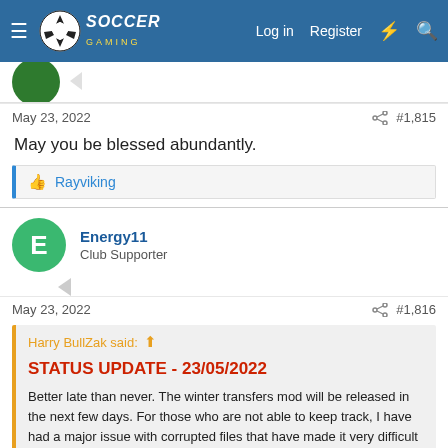Soccer Gaming — Log in | Register
May 23, 2022   #1,815
May you be blessed abundantly.
Rayviking
Energy11
Club Supporter
May 23, 2022   #1,816
Harry BullZak said:
STATUS UPDATE - 23/05/2022
Better late than never. The winter transfers mod will be released in the next few days. For those who are not able to keep track, I have had a major issue with corrupted files that have made it very difficult to